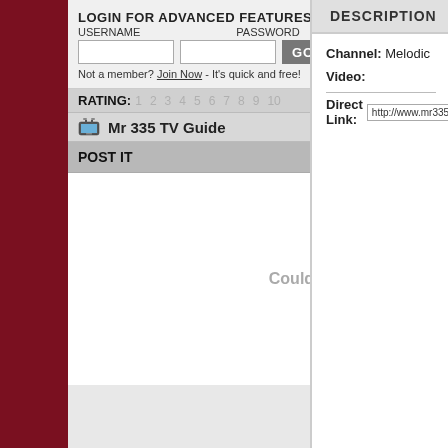LOGIN FOR ADVANCED FEATURES
USERNAME   PASSWORD
Not a member? Join Now - It's quick and free!
RATING: 1 2 3 4 5 6 7 8 9 10
Mr 335 TV Guide
POST IT
Couldn't load plugin.
DESCRIPTION
Channel: Melodic
Video:
Direct Link: http://www.mr335.tv